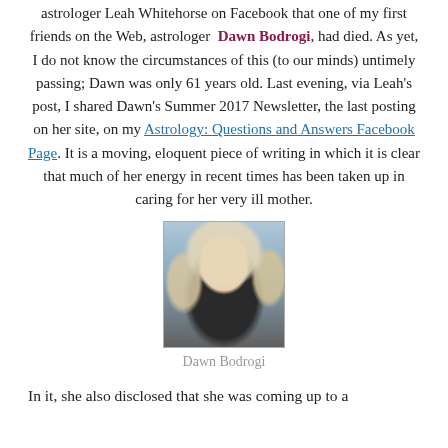astrologer Leah Whitehorse on Facebook that one of my first friends on the Web, astrologer Dawn Bodrogi, had died. As yet, I do not know the circumstances of this (to our minds) untimely passing; Dawn was only 61 years old. Last evening, via Leah's post, I shared Dawn's Summer 2017 Newsletter, the last posting on her site, on my Astrology: Questions and Answers Facebook Page. It is a moving, eloquent piece of writing in which it is clear that much of her energy in recent times has been taken up in caring for her very ill mother.
[Figure (photo): Portrait photo of Dawn Bodrogi, a woman with long blonde hair, facing slightly sideways, wearing a dark jacket. Background appears urban/blurred.]
Dawn Bodrogi
In it, she also disclosed that she was coming up to a